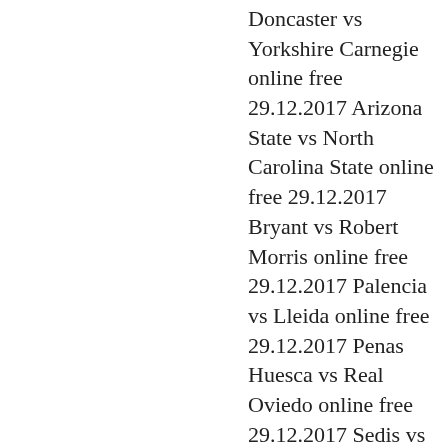Doncaster vs Yorkshire Carnegie online free 29.12.2017 Arizona State vs North Carolina State online free 29.12.2017 Bryant vs Robert Morris online free 29.12.2017 Palencia vs Lleida online free 29.12.2017 Penas Huesca vs Real Oviedo online free 29.12.2017 Sedis vs Donostia online free 29.12.2017 Canada Uvs20 vs USA Uvs20 online free 29.12.2017 Sacred Heart vs St. Francis (NY) online free